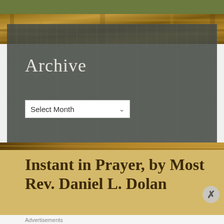[Figure (screenshot): Top olive green navigation bar]
[Figure (photo): Ornate golden church/cathedral decorative background image strip]
Archive
Select Month
Instant in Prayer, by Most Rev. Daniel L. Dolan
Advertisements